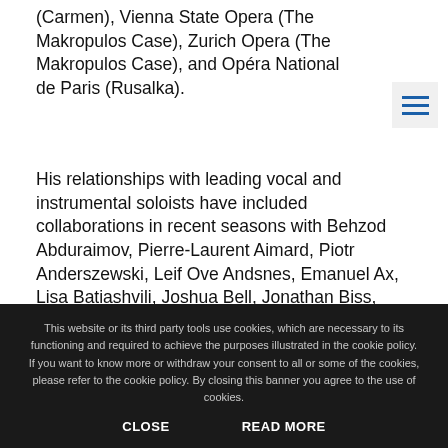(Carmen), Vienna State Opera (The Makropulos Case), Zurich Opera (The Makropulos Case), and Opéra National de Paris (Rusalka).
His relationships with leading vocal and instrumental soloists have included collaborations in recent seasons with Behzod Abduraimov, Pierre-Laurent Aimard, Piotr Anderszewski, Leif Ove Andsnes, Emanuel Ax, Lisa Batiashvili, Joshua Bell, Jonathan Biss, Yefim Bronfman, Rudolf Buchbinder, Renaud Capuçon, Isabelle Faust, Bernarda Fink, Martin Fröst, Julia Fischer, Vilde Frang, Sol Gabetta, Véronique Gens, Christian Gerhaher, Kirill Gerstein, Vadim Gluzman, Karen Gomyo, Augustin Hadelich, Hilary Hahn, Barbara Hannigan, Alina Ibragimova, Janine Jansen, Karita Mattila, Leonidas Kavakos, Sergey Khachatryan, Denis Kozhukhin, Lang
This website or its third party tools use cookies, which are necessary to its functioning and required to achieve the purposes illustrated in the cookie policy. If you want to know more or withdraw your consent to all or some of the cookies, please refer to the cookie policy. By closing this banner you agree to the use of cookies.
CLOSE    READ MORE